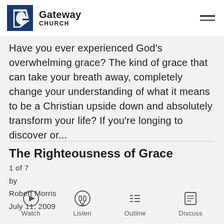Gateway Church
Have you ever experienced God's overwhelming grace? The kind of grace that can take your breath away, completely change your understanding of what it means to be a Christian upside down and absolutely transform your life? If you're longing to discover or...
The Righteousness of Grace
1 of 7
by
Robert Morris
July 11, 2009
Watch
Listen
Outline
Discuss